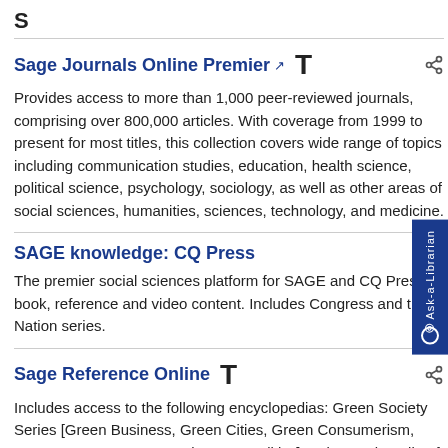S
Sage Journals Online Premier
Provides access to more than 1,000 peer-reviewed journals, comprising over 800,000 articles. With coverage from 1999 to present for most titles, this collection covers wide range of topics including communication studies, education, health science, political science, psychology, sociology, as well as other areas of social sciences, humanities, sciences, technology, and medicine.
SAGE knowledge: CQ Press
The premier social sciences platform for SAGE and CQ Press book, reference and video content. Includes Congress and the Nation series.
Sage Reference Online
Includes access to the following encyclopedias: Green Society Series [Green Business, Green Cities, Green Consumerism, Green Energy, Green Food, Green Politics] and Encyclopedia of